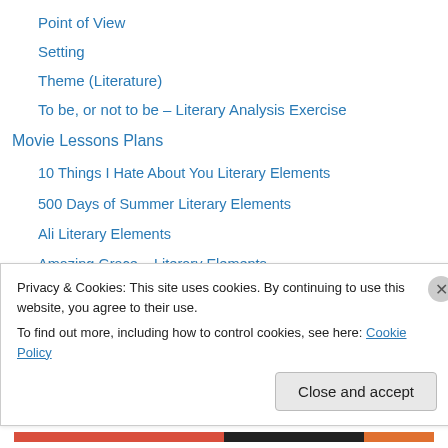Point of View
Setting
Theme (Literature)
To be, or not to be – Literary Analysis Exercise
Movie Lessons Plans
10 Things I Hate About You Literary Elements
500 Days of Summer Literary Elements
Ali Literary Elements
Amazing Grace – Literary Elements
Amores Perros – Literary Elements
Apocalypto – Literary Elements
Avatar – Role-Play – Learning Persuasion
Avengers – 5w's
Privacy & Cookies: This site uses cookies. By continuing to use this website, you agree to their use.
To find out more, including how to control cookies, see here: Cookie Policy
Close and accept